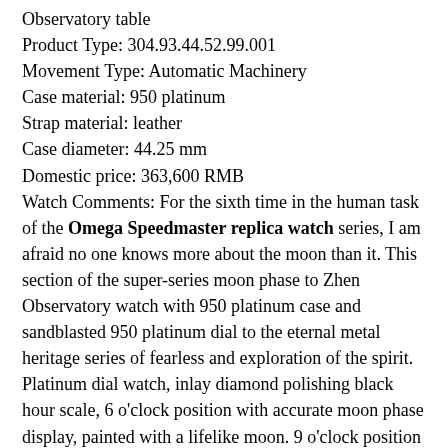Observatory table
Product Type: 304.93.44.52.99.001
Movement Type: Automatic Machinery
Case material: 950 platinum
Strap material: leather
Case diameter: 44.25 mm
Domestic price: 363,600 RMB
Watch Comments: For the sixth time in the human task of the Omega Speedmaster replica watch series, I am afraid no one knows more about the moon than it. This section of the super-series moon phase to Zhen Observatory watch with 950 platinum case and sandblasted 950 platinum dial to the eternal metal heritage series of fearless and exploration of the spirit. Platinum dial watch, inlay diamond polishing black hour scale, 6 o'clock position with accurate moon phase display, painted with a lifelike moon. 9 o'clock position with the date and small seconds dial with an enlarged date pointer, 3 o'clock